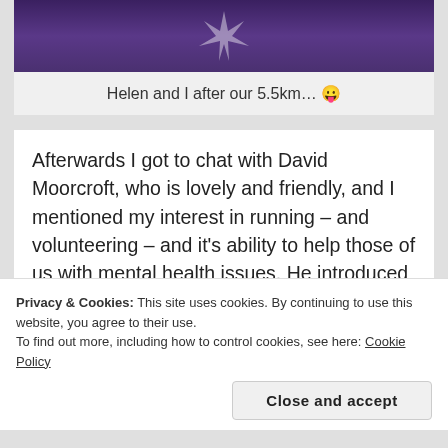[Figure (photo): Partial photo showing purple fabric or clothing with a white cross/star shape, likely a sports bib or vest]
Helen and I after our 5.5km… 😛
Afterwards I got to chat with David Moorcroft, who is lovely and friendly, and I mentioned my interest in running – and volunteering – and it's ability to help those of us with mental health issues.  He introduced me to Will – who discussed with me Hidden Diamonds – Uncovering the True Value of Sport Volunteers.  It is quite overwhelming the difference that volunteering can make – not only to a community but to individual people. In some cases…
Privacy & Cookies: This site uses cookies. By continuing to use this website, you agree to their use.
To find out more, including how to control cookies, see here: Cookie Policy
Close and accept